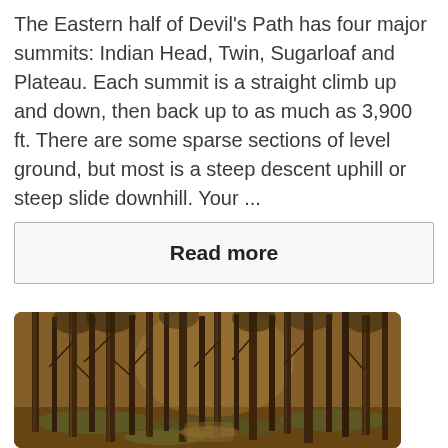The Eastern half of Devil's Path has four major summits: Indian Head, Twin, Sugarloaf and Plateau. Each summit is a straight climb up and down, then back up to as much as 3,900 ft. There are some sparse sections of level ground, but most is a steep descent uphill or steep slide downhill. Your ...
Read more
[Figure (photo): A forest trail photo with tall, thin trees in warm golden-brown tones, showing a path winding through dense woodland with green moss on the ground.]